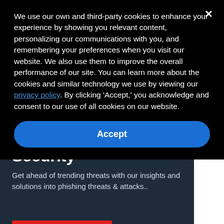We use our own and third-party cookies to enhance your experience by showing you relevant content, personalizing our communications with you, and remembering your preferences when you visit our website. We also use them to improve the overall performance of our site. You can learn more about the cookies and similar technology we use by viewing our privacy policy. By clicking 'Accept,' you acknowledge and consent to our use of all cookies on our website.
Accept
Security
Get ahead of trending threats with our insights and solutions into phishing threats & attacks..